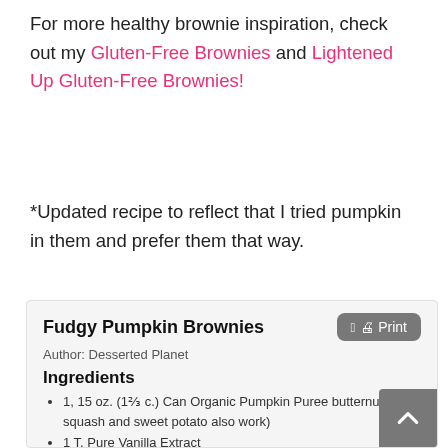For more healthy brownie inspiration, check out my Gluten-Free Brownies and Lightened Up Gluten-Free Brownies!
*Updated recipe to reflect that I tried pumpkin in them and prefer them that way.
Fudgy Pumpkin Brownies
Author: Desserted Planet
Ingredients
1, 15 oz. (1⅔ c.) Can Organic Pumpkin Puree butternut squash and sweet potato also work)
1 T. Pure Vanilla Extract
1½ c. Almond Butter (no added oil, salt, etc)
¼ c. Agave
½ c. plus 1 T. Organic Sprouted Spelt Flour (or whole wheat, white whole wheat, whole wheat pastry, etc.)
2¼ t. Baking Soda